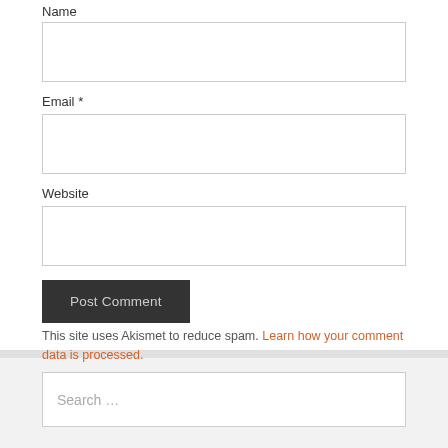Name
Email *
Website
Post Comment
This site uses Akismet to reduce spam. Learn how your comment data is processed.
Search ...